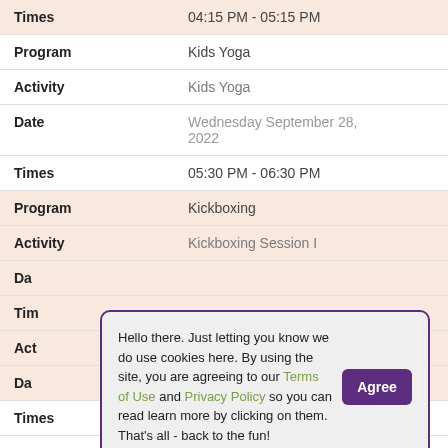| Field | Value |
| --- | --- |
| Times | 04:15 PM - 05:15 PM |
| Program | Kids Yoga |
| Activity | Kids Yoga |
| Date | Wednesday September 28, 2022 |
| Times | 05:30 PM - 06:30 PM |
| Program | Kickboxing |
| Activity | Kickboxing Session I |
| Da |  |
| Tim |  |
| Act |  |
| Da |  |
|  | 2022 |
| Times | 06:00 PM - 08:45 PM |
Hello there. Just letting you know we do use cookies here. By using the site, you are agreeing to our Terms of Use and Privacy Policy so you can read learn more by clicking on them. That's all - back to the fun!